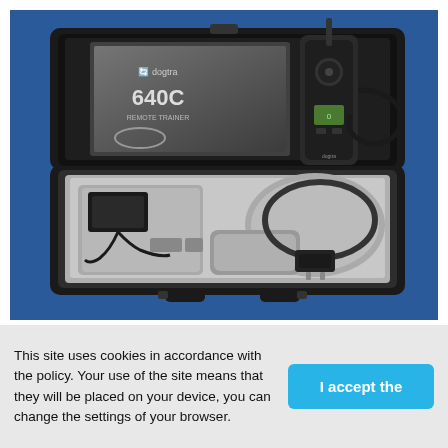[Figure (photo): Open hard-shell carrying case containing a Dogtra 640C remote dog training collar system. The case lid shows the product manual/guide with '640C' branding. Inside the case are: a handheld remote transmitter with antenna, a dog collar receiver unit with contact points, a charger/adapter, and accessory components. The background is blue.]
This site uses cookies in accordance with the policy. Your use of the site means that they will be placed on your device, you can change the settings of your browser.
I accept the